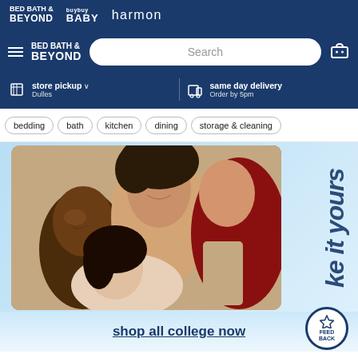BED BATH & BEYOND | buybuy BABY | harmon
[Figure (screenshot): Bed Bath & Beyond website navigation header with search bar, store pickup and same day delivery options]
bedding | bath | kitchen | dining | storage & cleaning
[Figure (photo): Three smiling young people lying together with text 'ke it yours' vertically rotated on the right side]
shop all college now
FEED BACK